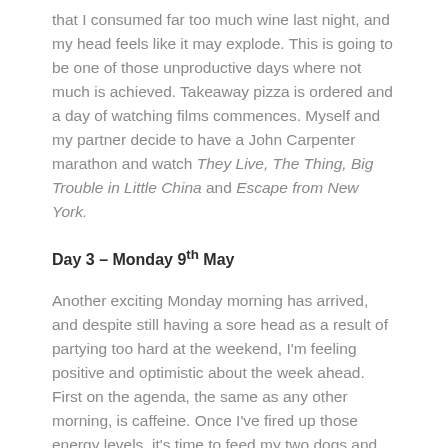that I consumed far too much wine last night, and my head feels like it may explode. This is going to be one of those unproductive days where not much is achieved. Takeaway pizza is ordered and a day of watching films commences. Myself and my partner decide to have a John Carpenter marathon and watch They Live, The Thing, Big Trouble in Little China and Escape from New York.
Day 3 – Monday 9th May
Another exciting Monday morning has arrived, and despite still having a sore head as a result of partying too hard at the weekend, I'm feeling positive and optimistic about the week ahead. First on the agenda, the same as any other morning, is caffeine. Once I've fired up those energy levels, it's time to feed my two dogs and take them out for a morning walk. Most of my working day is spent sitting at a desk, so it's